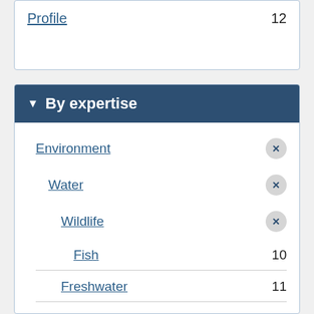Profile  12
By expertise
Environment  ×
Water  ×
Wildlife  ×
Fish  10
Freshwater  11
Water Quality  8
Great Lakes  7